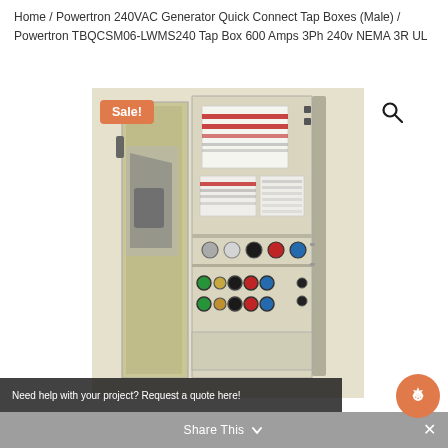Home / Powertron 240VAC Generator Quick Connect Tap Boxes (Male) / Powertron TBQCSM06-LWMS240 Tap Box 600 Amps 3Ph 240v NEMA 3R UL
[Figure (photo): Powertron TBQCSM06-LWMS240 electrical tap box, open, showing internal components: circuit breaker, warning labels, terminal connectors, and color-coded cable connectors at the bottom. Sale badge in top-left corner.]
Need help with your project? Request a quote here!
Share This